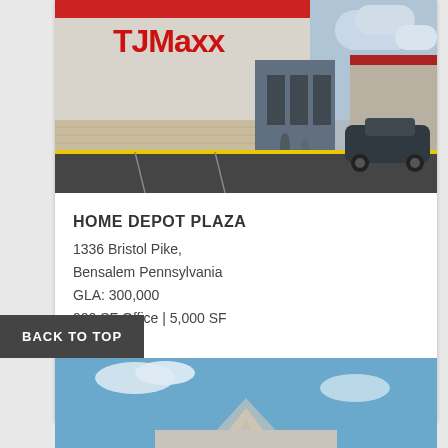[Figure (photo): Exterior photo of TJ Maxx store at Home Depot Plaza, showing the storefront with red and white signage, a parking lot in the foreground]
HOME DEPOT PLAZA
1336 Bristol Pike,
Bensalem Pennsylvania
GLA: 300,000
900 SF Office | 5,000 SF
View Property
BACK TO TOP
[Figure (photo): Partial view of another property building exterior against a blue sky, showing roofline with decorative chevron detail]